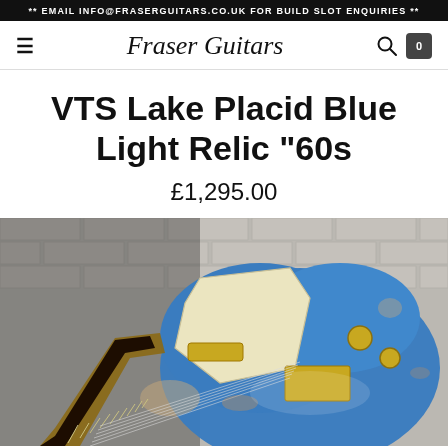** EMAIL INFO@FRASERGUITARS.CO.UK FOR BUILD SLOT ENQUIRIES **
[Figure (logo): Fraser Guitars logo in italic script font, with hamburger menu icon on left, search and cart icons on right]
VTS Lake Placid Blue Light Relic "60s
£1,295.00
[Figure (photo): Blue Telecaster-style electric guitar (Lake Placid Blue) with cream pickguard, gold hardware, rosewood fretboard, photographed at an angle against a white brick wall background]